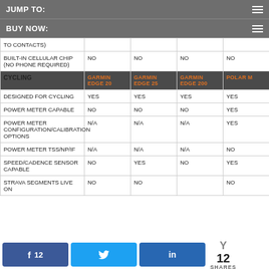JUMP TO:
BUY NOW:
| CYCLING | GARMIN EDGE 20 | GARMIN EDGE 25 | GARMIN EDGE 200 | POLAR M |
| --- | --- | --- | --- | --- |
| TO CONTACTS) |  |  |  |  |
| BUILT-IN CELLULAR CHIP (NO PHONE REQUIRED) | NO | NO | NO | NO |
| CYCLING | GARMIN EDGE 20 | GARMIN EDGE 25 | GARMIN EDGE 200 | POLAR M |
| DESIGNED FOR CYCLING | YES | YES | YES | YES |
| POWER METER CAPABLE | NO | NO | NO | YES |
| POWER METER CONFIGURATION/CALIBRATION OPTIONS | N/A | N/A | N/A | YES |
| POWER METER TSS/NP/IF | N/A | N/A | N/A | NO |
| SPEED/CADENCE SENSOR CAPABLE | NO | YES | NO | YES |
| STRAVA SEGMENTS LIVE ON | NO | NO |  | NO |